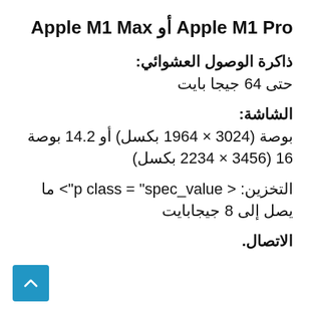Apple M1 Pro أو Apple M1 Max
ذاكرة الوصول العشوائي:
حتى 64 جيجا بايت
الشاشة:
بوصة (3024 × 1964 بكسل) أو 14.2 بوصة 16 (3456 × 2234 بكسل)
التخزين: < p class = "spec_value"> ما يصل إلى 8 جيجابايت
الاتصال.